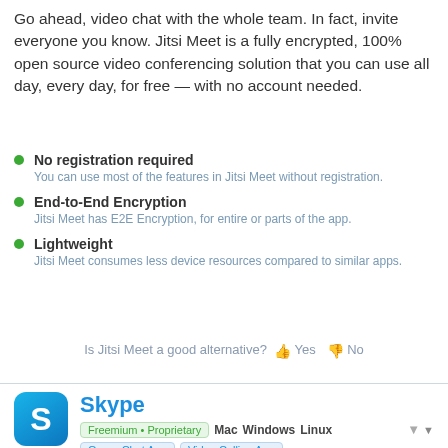Go ahead, video chat with the whole team. In fact, invite everyone you know. Jitsi Meet is a fully encrypted, 100% open source video conferencing solution that you can use all day, every day, for free — with no account needed.
No registration required
You can use most of the features in Jitsi Meet without registration.
End-to-End Encryption
Jitsi Meet has E2E Encryption, for entire or parts of the app.
Lightweight
Jitsi Meet consumes less device resources compared to similar apps.
Is Jitsi Meet a good alternative? 👍 Yes 👎 No
Skype
Freemium • Proprietary  Mac  Windows  Linux
Group Chat App  Video Calling App
♥ 2552